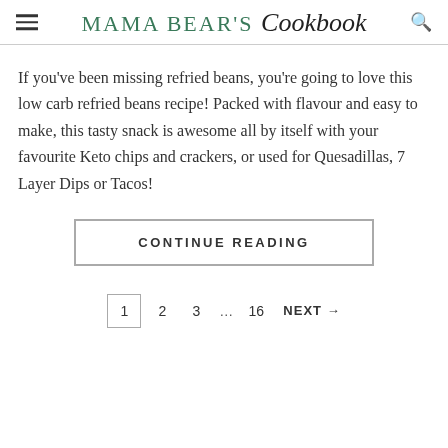Mama Bear's Cookbook
If you've been missing refried beans, you're going to love this low carb refried beans recipe! Packed with flavour and easy to make, this tasty snack is awesome all by itself with your favourite Keto chips and crackers, or used for Quesadillas, 7 Layer Dips or Tacos!
CONTINUE READING
1  2  3  ...  16  NEXT →